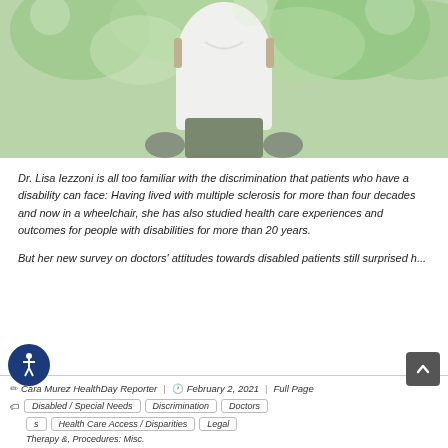[Figure (photo): Person in wheelchair from behind, wearing white shirt, outdoors with green foliage background]
Dr. Lisa Iezzoni is all too familiar with the discrimination that patients who have a disability can face: Having lived with multiple sclerosis for more than four decades and now in a wheelchair, she has also studied health care experiences and outcomes for people with disabilities for more than 20 years.
But her new survey on doctors' attitudes towards disabled patients still surprised h...
Cara Murez HealthDay Reporter | February 2, 2021 | Full Page
Disabled / Special Needs
Discrimination
Doctors
Health Care Access / Disparities
Legal
Therapy &, Procedures: Misc.